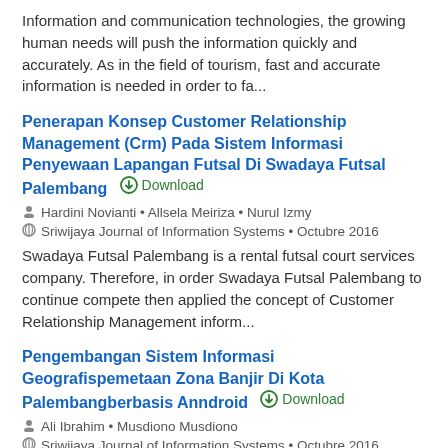Information and communication technologies, the growing human needs will push the information quickly and accurately. As in the field of tourism, fast and accurate information is needed in order to fa...
Penerapan Konsep Customer Relationship Management (Crm) Pada Sistem Informasi Penyewaan Lapangan Futsal Di Swadaya Futsal Palembang
Download
Hardini Novianti • Allsela Meiriza • Nurul Izmy
Sriwijaya Journal of Information Systems • Octubre 2016
Swadaya Futsal Palembang is a rental futsal court services company. Therefore, in order Swadaya Futsal Palembang to continue compete then applied the concept of Customer Relationship Management inform...
Pengembangan Sistem Informasi Geografispemetaan Zona Banjir Di Kota Palembangberbasis Anndroid
Download
Ali Ibrahim • Musdiono Musdiono
Sriwijaya Journal of Information Systems • Octubre 2016
Government institutions Public Works has a function to cope with flooding. In the flood of data management using a computer-based system. Location data flood managed manually. With this problem